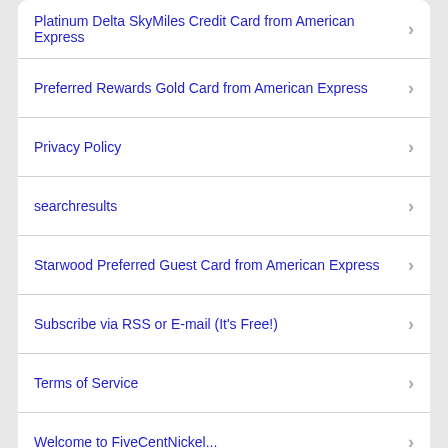Platinum Delta SkyMiles Credit Card from American Express
Preferred Rewards Gold Card from American Express
Privacy Policy
searchresults
Starwood Preferred Guest Card from American Express
Subscribe via RSS or E-mail (It's Free!)
Terms of Service
Welcome to FiveCentNickel...
About fivecentnickel.com
Hello and welcome. I’m “nickel”, and I’m the guy who runs this place. I’m a